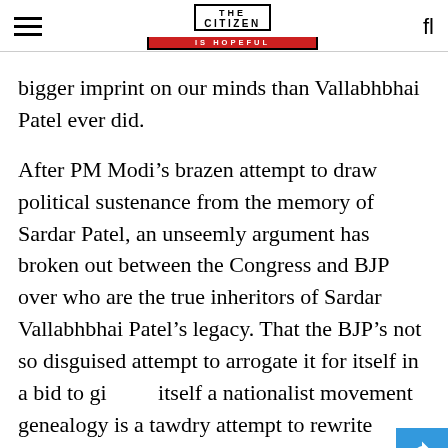THE CITIZEN IS HOPEFUL
bigger imprint on our minds than Vallabhbhai Patel ever did.
After PM Modi’s brazen attempt to draw political sustenance from the memory of Sardar Patel, an unseemly argument has broken out between the Congress and BJP over who are the true inheritors of Sardar Vallabhbhai Patel’s legacy. That the BJP’s not so disguised attempt to arrogate it for itself in a bid to give itself a nationalist movement genealogy is a tawdry attempt to rewrite history. What Sardar Patel thought of the RSS is a matter of record. He minced no words about